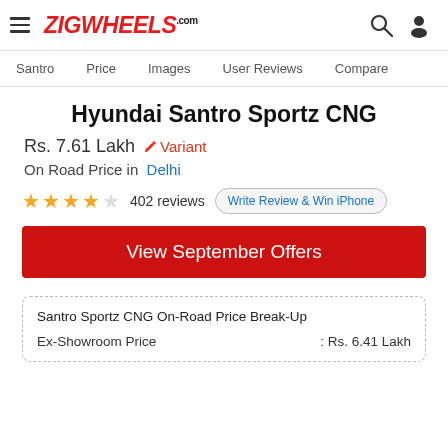ZIGWHEELS.com
Santro | Price | Images | User Reviews | Compare
Hyundai Santro Sportz CNG
Rs. 7.61 Lakh  Variant
On Road Price in  Delhi
402 reviews  Write Review & Win iPhone
View September Offers
Santro Sportz CNG On-Road Price Break-Up
Ex-Showroom Price : Rs. 6.41 Lakh